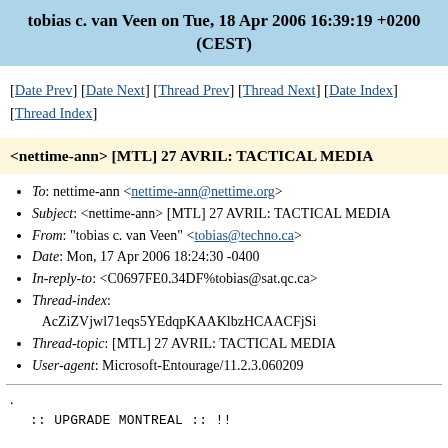tobias c. van Veen on Tue, 18 Apr 2006 16:39:19 +0200 (CEST)
[Date Prev] [Date Next] [Thread Prev] [Thread Next] [Date Index] [Thread Index]
<nettime-ann> [MTL] 27 AVRIL: TACTICAL MEDIA
To: nettime-ann <nettime-ann@nettime.org>
Subject: <nettime-ann> [MTL] 27 AVRIL: TACTICAL MEDIA
From: "tobias c. van Veen" <tobias@techno.ca>
Date: Mon, 17 Apr 2006 18:24:30 -0400
In-reply-to: <C0697FE0.34DF%tobias@sat.qc.ca>
Thread-index: AcZiZVjwl71eqs5YEdqpKAAKlbzHCAACFjSi
Thread-topic: [MTL] 27 AVRIL: TACTICAL MEDIA
User-agent: Microsoft-Entourage/11.2.3.060209
.
:: UPGRADE MONTREAL :: !!